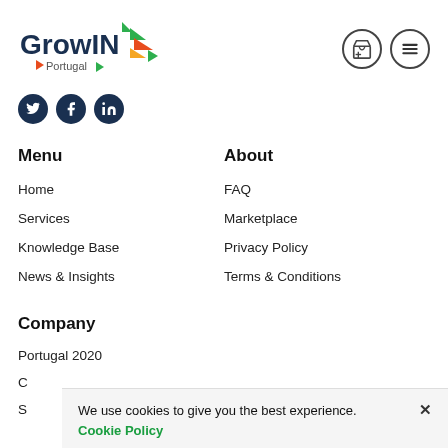[Figure (logo): GrowIN Portugal logo with colorful arrows]
[Figure (illustration): Header icons: marketplace/store icon and hamburger menu in circles]
[Figure (illustration): Social media icons: Twitter, Facebook, LinkedIn — dark navy circles]
Menu
About
Home
FAQ
Services
Marketplace
Knowledge Base
Privacy Policy
News & Insights
Terms & Conditions
Company
Portugal 2020
C
S
We use cookies to give you the best experience. ×
Cookie Policy